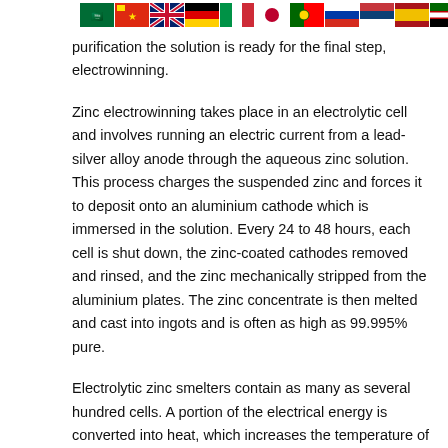[Figure (illustration): Row of national flag icons across the top of the page]
purification the solution is ready for the final step, electrowinning.
Zinc electrowinning takes place in an electrolytic cell and involves running an electric current from a lead-silver alloy anode through the aqueous zinc solution. This process charges the suspended zinc and forces it to deposit onto an aluminium cathode which is immersed in the solution. Every 24 to 48 hours, each cell is shut down, the zinc-coated cathodes removed and rinsed, and the zinc mechanically stripped from the aluminium plates. The zinc concentrate is then melted and cast into ingots and is often as high as 99.995% pure.
Electrolytic zinc smelters contain as many as several hundred cells. A portion of the electrical energy is converted into heat, which increases the temperature of the electrolyte. Electrolytic cells operate at temperature ranges from 30 to 35°C at atmospheric pressure. During electrowinning a portion of the electrolyte passes through cooling towers to decrease its